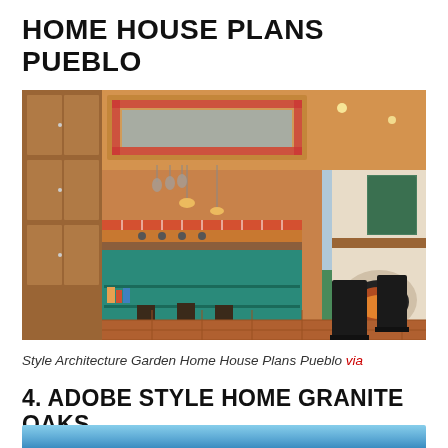HOME HOUSE PLANS PUEBLO
[Figure (photo): Pueblo style kitchen interior with a large teal/green kitchen island, wooden cabinetry, terracotta tile floor, hanging pendant lights over a decorative ceiling inset, and a kiva fireplace in the right background. Black leather chairs in foreground right.]
Style Architecture Garden Home House Plans Pueblo via
4. ADOBE STYLE HOME GRANITE OAKS
[Figure (photo): Partial view of an adobe style home exterior with blue sky visible — only the top strip of the image is shown.]